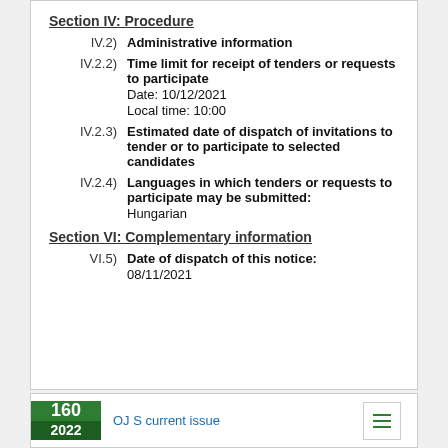Section IV: Procedure
IV.2) Administrative information
IV.2.2) Time limit for receipt of tenders or requests to participate
Date: 10/12/2021
Local time: 10:00
IV.2.3) Estimated date of dispatch of invitations to tender or to participate to selected candidates
IV.2.4) Languages in which tenders or requests to participate may be submitted:
Hungarian
Section VI: Complementary information
VI.5) Date of dispatch of this notice:
08/11/2021
160
2022
OJ S current issue